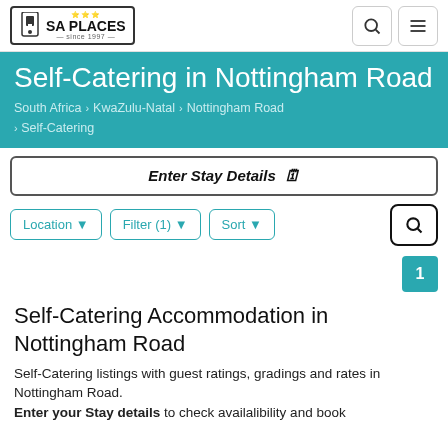SA PLACES — since 1997
Self-Catering in Nottingham Road
South Africa › KwaZulu-Natal › Nottingham Road › Self-Catering
Enter Stay Details
Location ▼   Filter (1) ▼   Sort ▼
1
Self-Catering Accommodation in Nottingham Road
Self-Catering listings with guest ratings, gradings and rates in Nottingham Road. Enter your Stay details to check availalibility and book